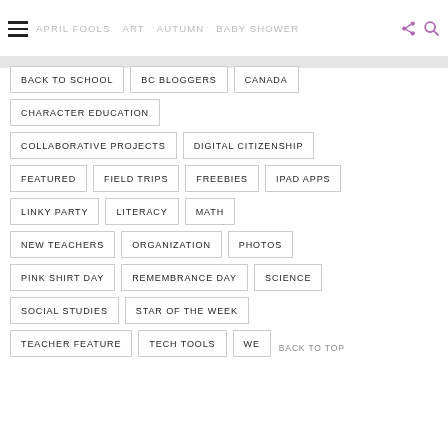≡ APRIL FOOLS  ART  AUTUMN  BABY SHOWER
BACK TO SCHOOL
BC BLOGGERS
CANADA
CHARACTER EDUCATION
COLLABORATIVE PROJECTS
DIGITAL CITIZENSHIP
FEATURED
FIELD TRIPS
FREEBIES
IPAD APPS
LINKY PARTY
LITERACY
MATH
NEW TEACHERS
ORGANIZATION
PHOTOS
PINK SHIRT DAY
REMEMBRANCE DAY
SCIENCE
SOCIAL STUDIES
STAR OF THE WEEK
TEACHER FEATURE
TECH TOOLS
WE
BACK TO TOP